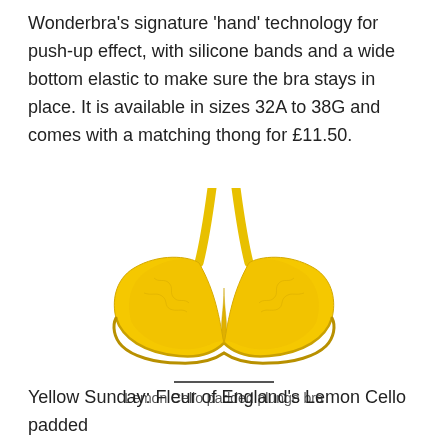Wonderbra's signature 'hand' technology for push-up effect, with silicone bands and a wide bottom elastic to make sure the bra stays in place. It is available in sizes 32A to 38G and comes with a matching thong for £11.50.
[Figure (photo): A yellow Lemon Cello padded plunge bra photographed on a white background]
Lemon Cello padded plunge bra
Yellow Sunday: Fleur of England's Lemon Cello padded